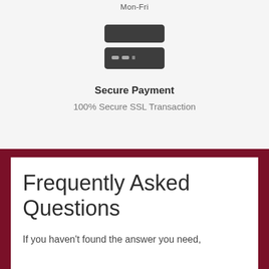Mon-Fri
[Figure (illustration): Credit card icon shown as two dark rounded rectangles stacked, the lower one showing dashes representing card numbers]
Secure Payment
100% Secure SSL Transaction
Frequently Asked Questions
If you haven't found the answer you need,